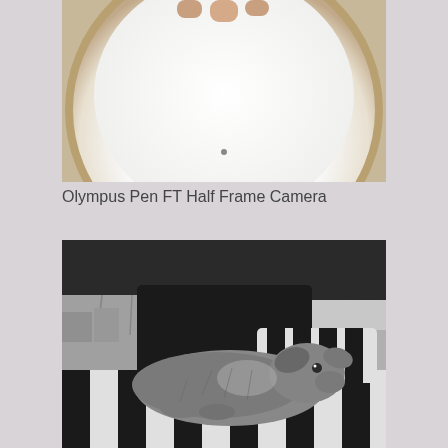[Figure (photo): Close-up photo of a circular lamp or light fixture seen from below, with white glowing center and a tan/beige rim, fingers visible at top edge]
Olympus Pen FT Half Frame Camera
[Figure (photo): Black and white photograph of a dog (Cocker Spaniel) lying on black and white striped fabric on a boat, with marina visible in background]